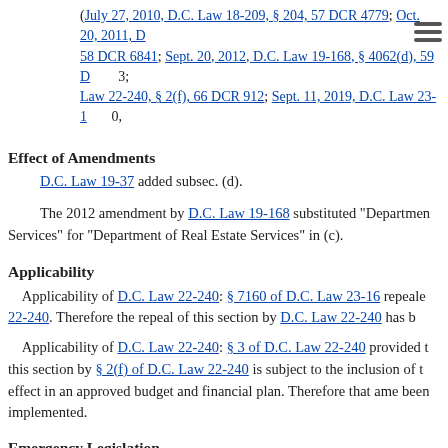(July 27, 2010, D.C. Law 18-209, § 204, 57 DCR 4779; Oct. 20, 2011, D... 58 DCR 6841; Sept. 20, 2012, D.C. Law 19-168, § 4062(d), 59 D... 3; Law 22-240, § 2(f), 66 DCR 912; Sept. 11, 2019, D.C. Law 23-1... 0,
Effect of Amendments
D.C. Law 19-37 added subsec. (d).
The 2012 amendment by D.C. Law 19-168 substituted "Department... Services" for "Department of Real Estate Services" in (c).
Applicability
Applicability of D.C. Law 22-240: § 7160 of D.C. Law 23-16 repeale... 22-240. Therefore the repeal of this section by D.C. Law 22-240 has b...
Applicability of D.C. Law 22-240: § 3 of D.C. Law 22-240 provided t... this section by § 2(f) of D.C. Law 22-240 is subject to the inclusion of t... effect in an approved budget and financial plan. Therefore that ame... been implemented.
Emergency Legislation
For temporary (90 days) repeal of applicability provision of D.C. La...